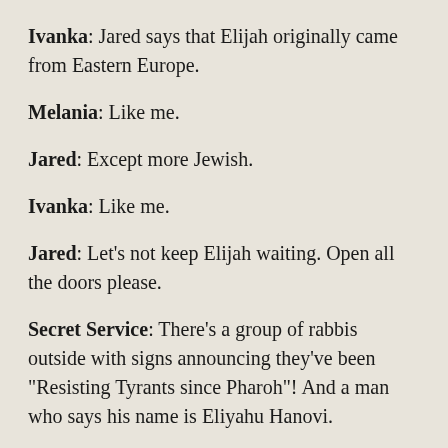Ivanka: Jared says that Elijah originally came from Eastern Europe.
Melania: Like me.
Jared: Except more Jewish.
Ivanka: Like me.
Jared: Let's not keep Elijah waiting. Open all the doors please.
Secret Service: There's a group of rabbis outside with signs announcing they've been "Resisting Tyrants since Pharoh"! And a man who says his name is Eliyahu Hanovi.